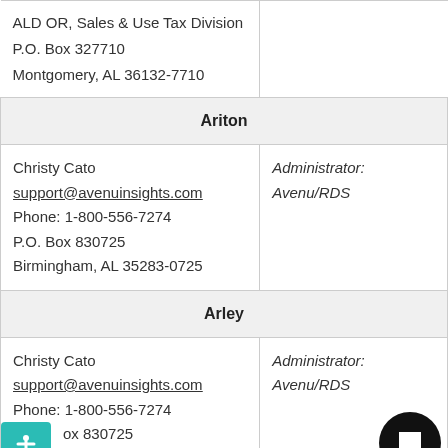| Contact | Role |
| --- | --- |
| ALD OR, Sales & Use Tax Division
P.O. Box 327710
Montgomery, AL 36132-7710 |  |
| Ariton |  |
| Christy Cato
support@avenuinsights.com
Phone: 1-800-556-7274
P.O. Box 830725
Birmingham, AL 35283-0725 | Administrator:
Avenu/RDS |
| Arley |  |
| Christy Cato
support@avenuinsights.com
Phone: 1-800-556-7274
P.O. Box 830725
Birmingham, AL 35283-0725 | Administrator:
Avenu/RDS |